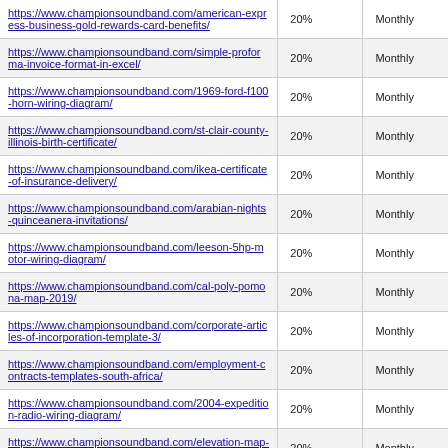| https://www.championsoundband.com/american-express-business-gold-rewards-card-benefits/ | 20% | Monthly |
| https://www.championsoundband.com/simple-proforma-invoice-format-in-excel/ | 20% | Monthly |
| https://www.championsoundband.com/1969-ford-f100-horn-wiring-diagram/ | 20% | Monthly |
| https://www.championsoundband.com/st-clair-county-illinois-birth-certificate/ | 20% | Monthly |
| https://www.championsoundband.com/ikea-certificate-of-insurance-delivery/ | 20% | Monthly |
| https://www.championsoundband.com/arabian-nights-quinceanera-invitations/ | 20% | Monthly |
| https://www.championsoundband.com/leeson-5hp-motor-wiring-diagram/ | 20% | Monthly |
| https://www.championsoundband.com/cal-poly-pomona-map-2019/ | 20% | Monthly |
| https://www.championsoundband.com/corporate-articles-of-incorporation-template-3/ | 20% | Monthly |
| https://www.championsoundband.com/employment-contracts-templates-south-africa/ | 20% | Monthly |
| https://www.championsoundband.com/2004-expedition-radio-wiring-diagram/ | 20% | Monthly |
| https://www.championsoundband.com/elevation-map-of-montgomery-county-texas/ | 20% | Monthly |
| https://www.championsoundband.com/harris-county-texas-... | 20% | Monthly |